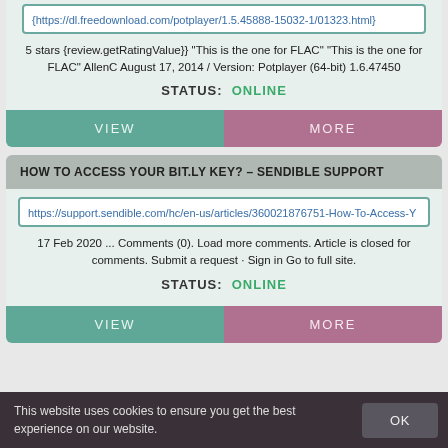5 stars {review.getRatingValue}} "This is the one for FLAC" "This is the one for FLAC" AllenC August 17, 2014 / Version: Potplayer (64-bit) 1.6.47450
STATUS: ONLINE
VIEW
MORE
HOW TO ACCESS YOUR BIT.LY KEY? – SENDIBLE SUPPORT
https://support.sendible.com/hc/en-us/articles/360021876751-How-To-Access-Y
17 Feb 2020 ... Comments (0). Load more comments. Article is closed for comments. Submit a request · Sign in Go to full site.
STATUS: ONLINE
VIEW
MORE
This website uses cookies to ensure you get the best experience on our website.